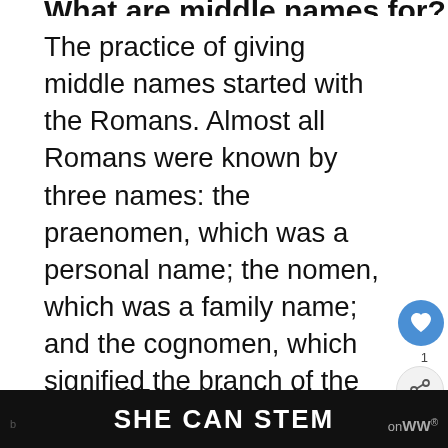What are middle names for?
The practice of giving middle names started with the Romans. Almost all Romans were known by three names: the praenomen, which was a personal name; the nomen, which was a family name; and the cognomen, which signified the branch of the family you belonged to. The greater the number of names you possessed, the more esteemed you were among your peers.
In the 1700s, this habit of numerous
[Figure (infographic): UI overlay elements: like button (blue circle with heart), share button (circle with share icon), count '1', and 'What's Next' widget showing baby image with text 'Baby Names Meaning...']
SHE CAN STEM